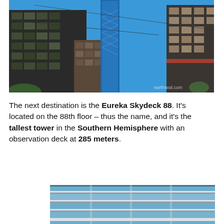[Figure (photo): Upward angled photo of Melbourne city buildings including the Eureka Tower (tall blue skyscraper) against a bright blue sky, with other multi-story buildings on the left and right. A watermark 'earthseal.com' is visible in the lower right.]
The next destination is the Eureka Skydeck 88. It's located on the 88th floor – thus the name, and it's the tallest tower in the Southern Hemisphere with an observation deck at 285 meters.
[Figure (photo): Close-up photo of a modern glass curtain-wall building facade with blue reflective windows and horizontal white structural bands, seen from a low angle.]